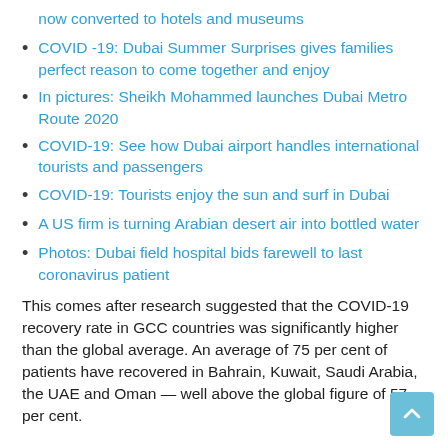now converted to hotels and museums
COVID -19: Dubai Summer Surprises gives families perfect reason to come together and enjoy
In pictures: Sheikh Mohammed launches Dubai Metro Route 2020
COVID-19: See how Dubai airport handles international tourists and passengers
COVID-19: Tourists enjoy the sun and surf in Dubai
A US firm is turning Arabian desert air into bottled water
Photos: Dubai field hospital bids farewell to last coronavirus patient
This comes after research suggested that the COVID-19 recovery rate in GCC countries was significantly higher than the global average. An average of 75 per cent of patients have recovered in Bahrain, Kuwait, Saudi Arabia, the UAE and Oman — well above the global figure of 57 per cent.